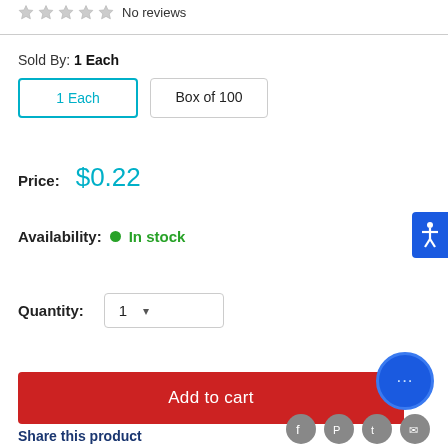No reviews
Sold By: 1 Each
1 Each | Box of 100
Price: $0.22
Availability: In stock
Quantity: 1
Add to cart
Share this product